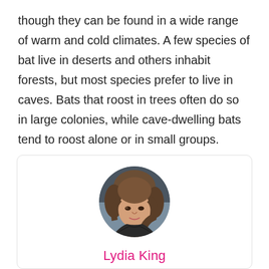though they can be found in a wide range of warm and cold climates. A few species of bat live in deserts and others inhabit forests, but most species prefer to live in caves. Bats that roost in trees often do so in large colonies, while cave-dwelling bats tend to roost alone or in small groups.
[Figure (photo): Circular portrait photo of a woman with medium-length brown hair, smiling slightly, against a blurred outdoor background.]
Lydia King